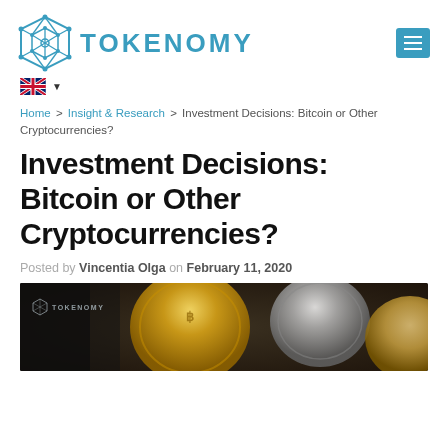TOKENOMY
Home > Insight & Research > Investment Decisions: Bitcoin or Other Cryptocurrencies?
Investment Decisions: Bitcoin or Other Cryptocurrencies?
Posted by Vincentia Olga on February 11, 2020
[Figure (photo): Hero image showing gold, silver, and bronze cryptocurrency coins up close, with Tokenomy logo watermark in the top-left corner.]